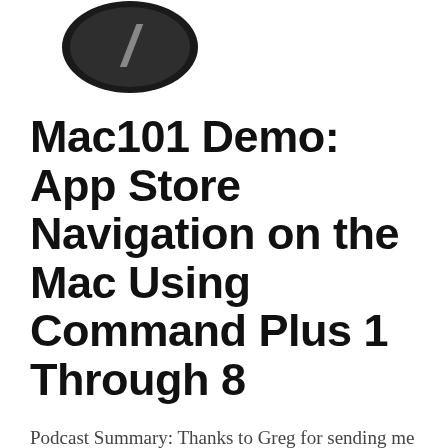[Figure (logo): Circular dark logo with a large italic number 7 in gray]
Mac101 Demo: App Store Navigation on the Mac Using Command Plus 1 Through 8
Podcast Summary: Thanks to Greg for sending me a message when he heard the App Store demo I did on the Tech Abilities showwhere I navigated the ...